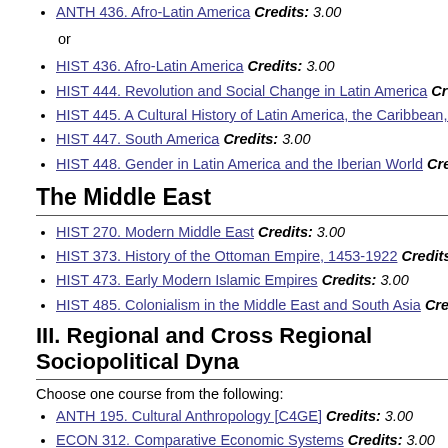ANTH 436. Afro-Latin America Credits: 3.00
or
HIST 436. Afro-Latin America Credits: 3.00
HIST 444. Revolution and Social Change in Latin America Credits: 3.0
HIST 445. A Cultural History of Latin America, the Caribbean, and the
HIST 447. South America Credits: 3.00
HIST 448. Gender in Latin America and the Iberian World Credits: 3.00
The Middle East
HIST 270. Modern Middle East Credits: 3.00
HIST 373. History of the Ottoman Empire, 1453-1922 Credits: 3.00
HIST 473. Early Modern Islamic Empires Credits: 3.00
HIST 485. Colonialism in the Middle East and South Asia Credits: 3.00
III. Regional and Cross Regional Sociopolitical Dynamics
Choose one course from the following:
ANTH 195. Cultural Anthropology [C4GE] Credits: 3.00
ECON 312. Comparative Economic Systems Credits: 3.00
GEOG 280. Human Geography: The Cultural Landscape Credits: 3.00